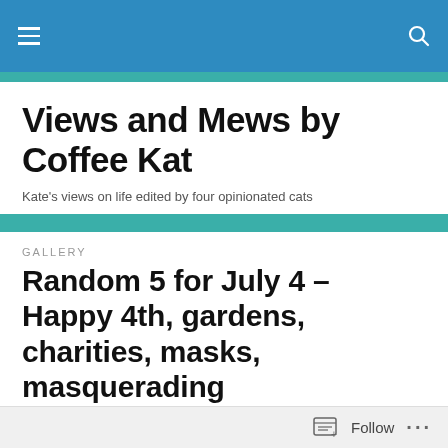Views and Mews by Coffee Kat — navigation bar
Views and Mews by Coffee Kat
Kate's views on life edited by four opinionated cats
GALLERY
Random 5 for July 4 – Happy 4th, gardens, charities, masks, masquerading
[Figure (illustration): American flag emoji/illustration on a pole]
Follow  •••